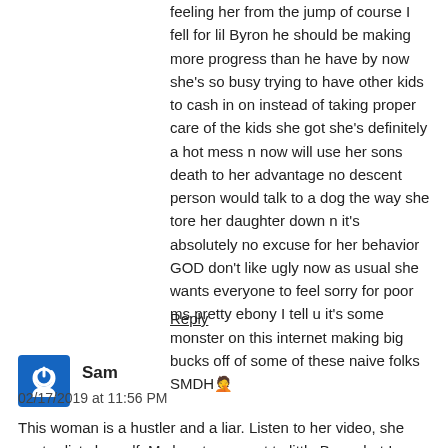feeling her from the jump of course I fell for lil Byron he should be making more progress than he have by now she's so busy trying to have other kids to cash in on instead of taking proper care of the kids she got she's definitely a hot mess n now will use her sons death to her advantage no descent person would talk to a dog the way she tore her daughter down n it's absolutely no excuse for her behavior GOD don't like ugly now as usual she wants everyone to feel sorry for poor ms pretty ebony I tell u it's some monster on this internet making big bucks off of some of these naive folks SMDH🤦
Reply
[Figure (logo): Blue square avatar with white power/user icon]
Sam
02/17/2019 at 11:56 PM
This woman is a hustler and a liar. Listen to her video, she contradicts herself. My heart goes out to little Byron but I saw through her the first couple of times I watched her video. I also made a couple of donations initially....not again. Reading her